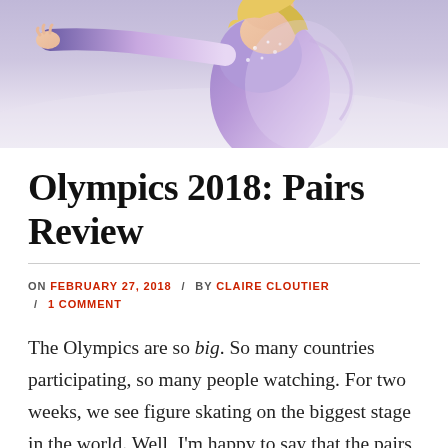[Figure (photo): Figure skater in a lavender/purple costume performing at the Olympics, upper body visible against a light background, arm extended gracefully.]
Olympics 2018: Pairs Review
ON FEBRUARY 27, 2018 / BY CLAIRE CLOUTIER / 1 COMMENT
The Olympics are so big. So many countries participating, so many people watching. For two weeks, we see figure skating on the biggest stage in the world. Well, I'm happy to say that the pairs skaters did not disappoint when it was their turn to take the stage in Pyeongchang. I was so moved by so many skaters.